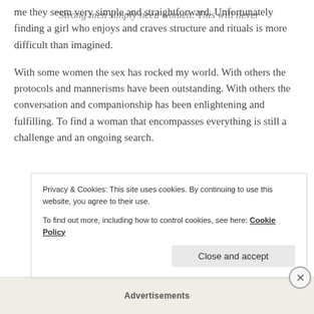me they seem very simple and straightforward. Unfortunately finding a girl who enjoys and craves structure and rituals is more difficult than imagined.
With some women the sex has rocked my world. With others the protocols and mannerisms have been outstanding. With others the conversation and companionship has been enlightening and fulfilling. To find a woman that encompasses everything is still a challenge and an ongoing search.
“Strong men simply need women. This will never
Privacy & Cookies: This site uses cookies. By continuing to use this website, you agree to their use.
To find out more, including how to control cookies, see here: Cookie Policy
Close and accept
Advertisements